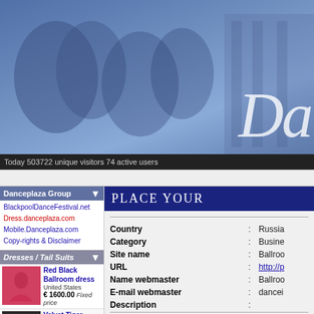[Figure (photo): Blue-tinted banner with ballroom dancers and 'Da' text in italic script on right side]
Today 503722 unique visitors 74 active users
Danceplaza Group
BlackpoolDanceFestival.net
Dress.danceplaza.com
Mobile.Danceplaza.com
Copy-rights & Disclaimer
Dresses / Tail Suits
Red Black Ballroom dress
United States
€ 1600.00 Fixed price
Velvet Tiger Ballroom Dance Dress
Slovakia
€ 650.00 Negotiable
ATELIER ELLA BALLROOM DRESS FOR SALE!!!!
Poland
€ 1750.00 Negotiable
Great Latin Dress
United States
€ 1000.00 Negotiable
Bright and Elegant dress!!
Russia
Place your
| Field |  | Value |
| --- | --- | --- |
| Country | : | Russia |
| Category | : | Business |
| Site name | : | Ballroo... |
| URL | : | http://p... |
| Name webmaster | : | Ballroo... |
| E-mail webmaster | : | dancei... |
| Description | : |  |